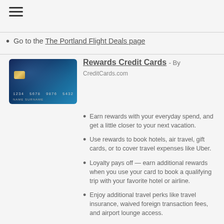[Figure (illustration): Hamburger menu icon (three horizontal lines)]
Go to the The Portland Flight Deals page
[Figure (photo): Dark blue credit card with gold chip, showing number 1234 5678 9876 5432 and name NAME SURNAME]
Rewards Credit Cards - By CreditCards.com
Earn rewards with your everyday spend, and get a little closer to your next vacation.
Use rewards to book hotels, air travel, gift cards, or to cover travel expenses like Uber.
Loyalty pays off — earn additional rewards when you use your card to book a qualifying trip with your favorite hotel or airline.
Enjoy additional travel perks like travel insurance, waived foreign transaction fees, and airport lounge access.
Terms vary by partner offer. Please see each bank's application for terms and conditions.